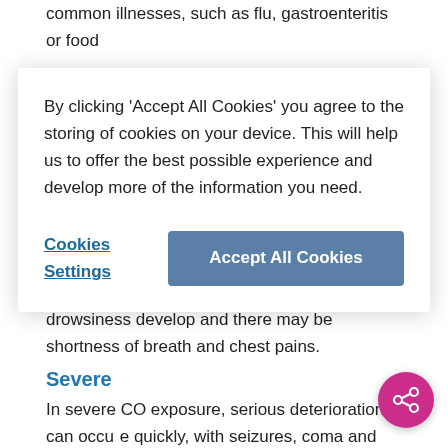common illnesses, such as flu, gastroenteritis or food
[Figure (screenshot): Cookie consent modal dialog with message: 'By clicking 'Accept All Cookies' you agree to the storing of cookies on your device. This will help us to offer the best possible experience and develop more of the information you need.' Buttons: 'Cookies Settings' (text link) and 'Accept All Cookies' (blue button).]
drowsiness develop and there may be shortness of breath and chest pains.
Severe
In severe CO exposure, serious deterioration can occur quickly, with seizures, coma and death. MRI scans may show changes in the basal ganglia and the white matter.